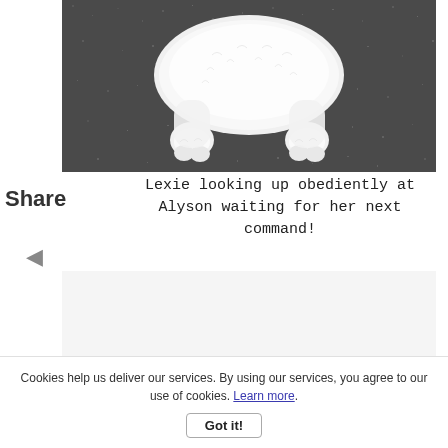[Figure (photo): A fluffy white dog (Lexie) lying on a dark speckled floor, photographed from above showing its back and paws, looking up obediently.]
Lexie looking up obediently at Alyson waiting for her next command!
Share
◄
Cookies help us deliver our services. By using our services, you agree to our use of cookies. Learn more.
Got it!